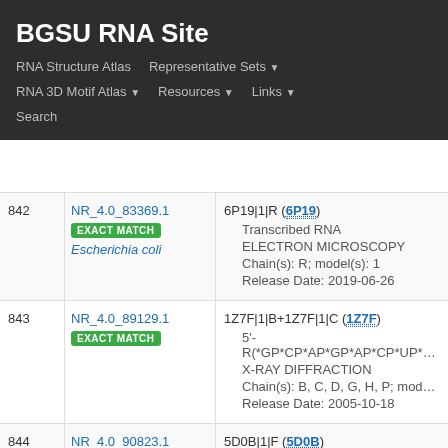BGSU RNA Site
RNA Structure Atlas | Representative Sets | RNA 3D Motif Atlas | Resources | Links | Search
| # | ID / Match | Entry Info |
| --- | --- | --- |
| 842 | NR_4.0_83369.1
EXACT MATCH
Escherichia coli | 6P19|1|R (6P19)
• Transcribed RNA
• ELECTRON MICROSCOPY
• Chain(s): R; model(s): 1
• Release Date: 2019-06-26 |
| 843 | NR_4.0_89129.1
EXACT MATCH | 1Z7F|1|B+1Z7F|1|C (1Z7F)
• 5'-R(*GP*CP*AP*GP*AP*CP*UP*UP*AP*A
• X-RAY DIFFRACTION
• Chain(s): B, C, D, G, H, P; model(s): 1
• Release Date: 2005-10-18 |
| 844 | NR_4.0_90823.1
EXACT MATCH | 5D0B|1|F (5D0B)
• RNA (5'-D(*GP*CP*AP*GP*AP*CP*UP*(
• X-RAY DIFFRACTION |